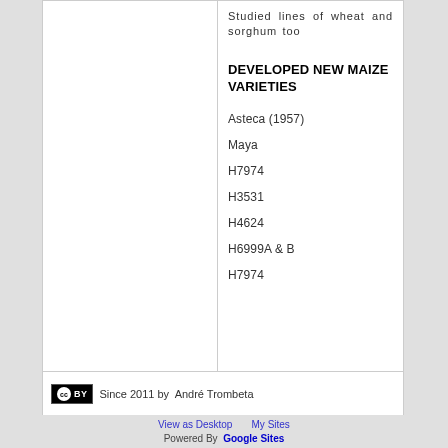Studied lines of wheat and sorghum too
DEVELOPED NEW MAIZE VARIETIES
Asteca (1957)
Maya
H7974
H3531
H4624
H6999A & B
H7974
Since 2011 by André Trombeta
View as Desktop   My Sites   Powered By Google Sites